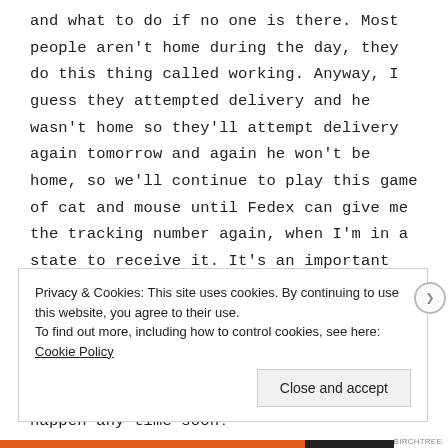and what to do if no one is there. Most people aren't home during the day, they do this thing called working. Anyway, I guess they attempted delivery and he wasn't home so they'll attempt delivery again tomorrow and again he won't be home, so we'll continue to play this game of cat and mouse until Fedex can give me the tracking number again, when I'm in a state to receive it. It's an important package too and one we've been trying to get sent to us here in South Korea ever since we found a house, but obviously there are some anti-us-receiving-it, forces at play, and it's not going to happen any time soon!
Privacy & Cookies: This site uses cookies. By continuing to use this website, you agree to their use.
To find out more, including how to control cookies, see here: Cookie Policy
Close and accept